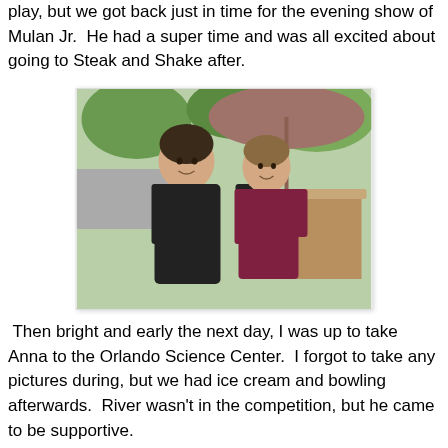play, but we got back just in time for the evening show of Mulan Jr.  He had a super time and was all excited about going to Steak and Shake after.
[Figure (photo): A young man in a black shirt and a young woman in a maroon top sitting together outdoors under a large umbrella at what appears to be a restaurant patio.]
Then bright and early the next day, I was up to take Anna to the Orlando Science Center.  I forgot to take any pictures during, but we had ice cream and bowling afterwards.  River wasn't in the competition, but he came to be supportive.
[Figure (photo): Two people near a river or pond surrounded by green trees and leafy branches. One person is wearing a pink shirt and glasses, another is visible behind them.]